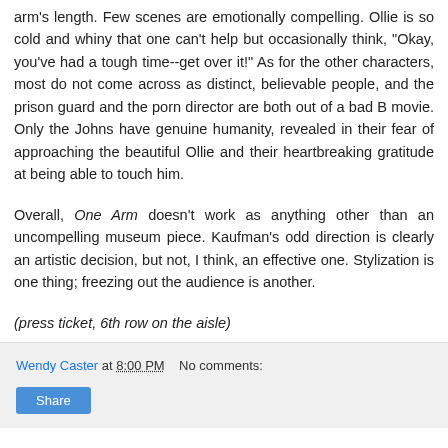arm's length. Few scenes are emotionally compelling. Ollie is so cold and whiny that one can't help but occasionally think, "Okay, you've had a tough time--get over it!" As for the other characters, most do not come across as distinct, believable people, and the prison guard and the porn director are both out of a bad B movie. Only the Johns have genuine humanity, revealed in their fear of approaching the beautiful Ollie and their heartbreaking gratitude at being able to touch him.
Overall, One Arm doesn't work as anything other than an uncompelling museum piece. Kaufman's odd direction is clearly an artistic decision, but not, I think, an effective one. Stylization is one thing; freezing out the audience is another.
(press ticket, 6th row on the aisle)
Wendy Caster at 8:00 PM   No comments: